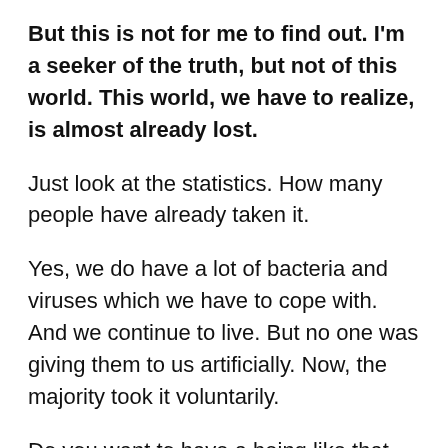But this is not for me to find out. I'm a seeker of the truth, but not of this world. This world, we have to realize, is almost already lost.
Just look at the statistics. How many people have already taken it.
Yes, we do have a lot of bacteria and viruses which we have to cope with. And we continue to live. But no one was giving them to us artificially. Now, the majority took it voluntarily.
Do you want to have a being like that inside of you? It has pretty colors, one can take care of it… But it hasn't been created to just sit there and to do nothing. It also wants to live and multiply… you